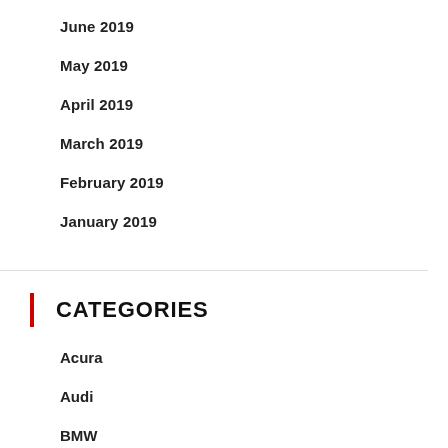June 2019
May 2019
April 2019
March 2019
February 2019
January 2019
CATEGORIES
Acura
Audi
BMW